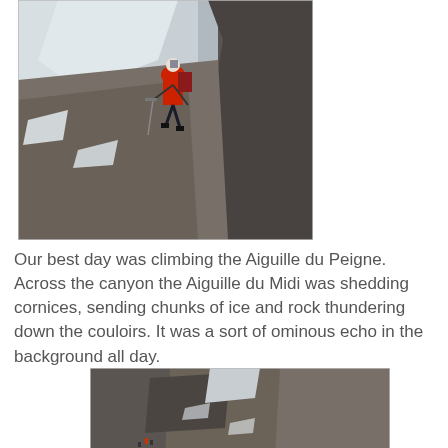[Figure (photo): A mountain climber wearing a red jacket and helmet climbing between large dark rocks on a steep mountain face, with a snowy glacier visible in the background.]
Our best day was climbing the Aiguille du Peigne. Across the canyon the Aiguille du Midi was shedding cornices, sending chunks of ice and rock thundering down the couloirs. It was a sort of ominous echo in the background all day.
[Figure (photo): A dramatic view looking up a steep rocky mountain face with jagged cliffs and some snow/cloud visible against a blue sky.]